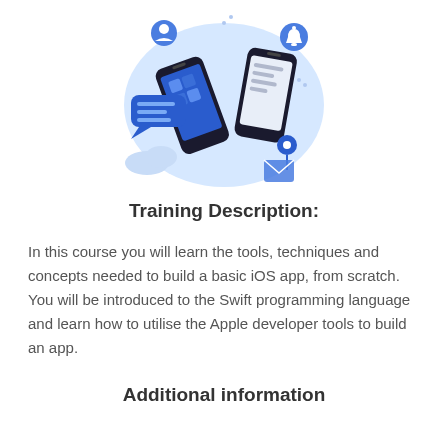[Figure (illustration): Illustration of two smartphones with mobile app icons, notifications, chat bubbles, and a location pin, surrounded by a light blue oval background]
Training Description:
In this course you will learn the tools, techniques and concepts needed to build a basic iOS app, from scratch. You will be introduced to the Swift programming language and learn how to utilise the Apple developer tools to build an app.
Additional information